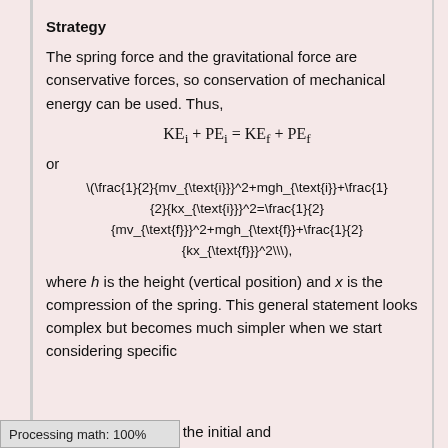Strategy
The spring force and the gravitational force are conservative forces, so conservation of mechanical energy can be used. Thus,
or
where h is the height (vertical position) and x is the compression of the spring. This general statement looks complex but becomes much simpler when we start considering specific
rst, we must identify the initial and
Processing math: 100%